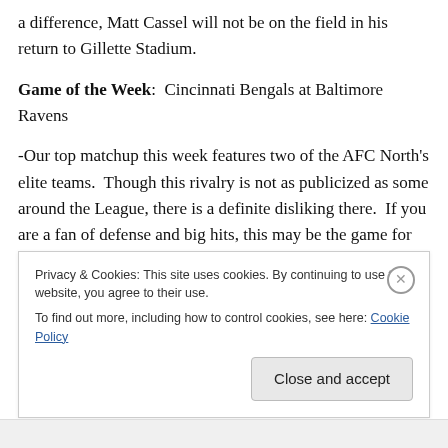a difference, Matt Cassel will not be on the field in his return to Gillette Stadium.
Game of the Week:  Cincinnati Bengals at Baltimore Ravens
-Our top matchup this week features two of the AFC North's elite teams.  Though this rivalry is not as publicized as some around the League, there is a definite disliking there.  If you are a fan of defense and big hits, this may be the game for you this week.  The real question on everyone's mind as these two 6 and 3 teams go toe to toe
Privacy & Cookies: This site uses cookies. By continuing to use this website, you agree to their use.
To find out more, including how to control cookies, see here: Cookie Policy
Close and accept